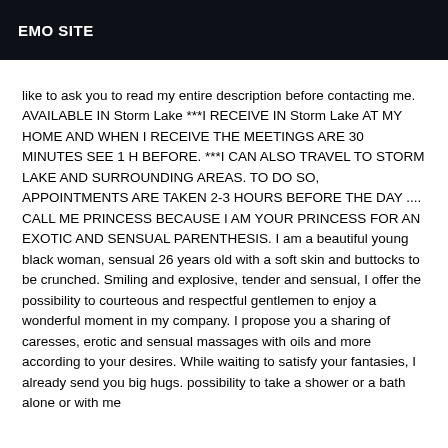EMO SITE
like to ask you to read my entire description before contacting me. AVAILABLE IN Storm Lake ***I RECEIVE IN Storm Lake AT MY HOME AND WHEN I RECEIVE THE MEETINGS ARE 30 MINUTES SEE 1 H BEFORE. ***I CAN ALSO TRAVEL TO STORM LAKE AND SURROUNDING AREAS. TO DO SO, APPOINTMENTS ARE TAKEN 2-3 HOURS BEFORE THE DAY .... CALL ME PRINCESS BECAUSE I AM YOUR PRINCESS FOR AN EXOTIC AND SENSUAL PARENTHESIS. I am a beautiful young black woman, sensual 26 years old with a soft skin and buttocks to be crunched. Smiling and explosive, tender and sensual, I offer the possibility to courteous and respectful gentlemen to enjoy a wonderful moment in my company. I propose you a sharing of caresses, erotic and sensual massages with oils and more according to your desires. While waiting to satisfy your fantasies, I already send you big hugs. possibility to take a shower or a bath alone or with me